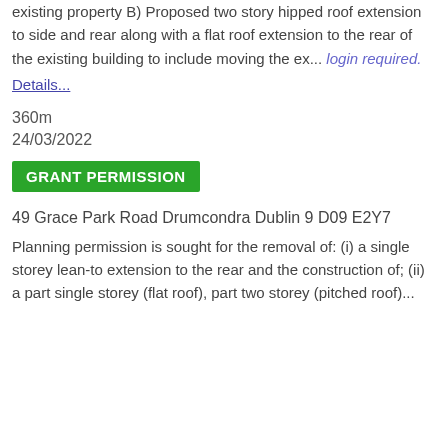existing property B) Proposed two story hipped roof extension to side and rear along with a flat roof extension to the rear of the existing building to include moving the ex... login required.
Details...
360m
24/03/2022
GRANT PERMISSION
49 Grace Park Road Drumcondra Dublin 9 D09 E2Y7
Planning permission is sought for the removal of: (i) a single storey lean-to extension to the rear and the construction of; (ii) a part single storey (flat roof), part two storey (pitched roof)...